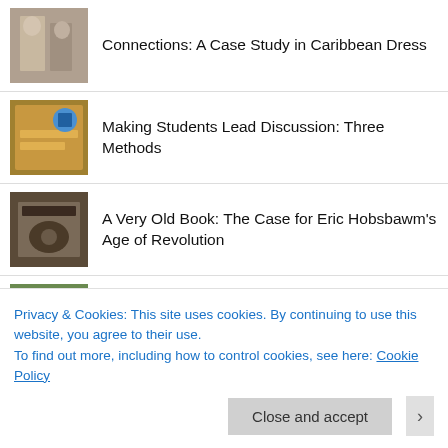Connections: A Case Study in Caribbean Dress
Making Students Lead Discussion: Three Methods
A Very Old Book: The Case for Eric Hobsbawm’s Age of Revolution
Interpreting US History in the UK: The American Museum in Britain
Finding Its Way: Gordon Wood and the William and Mary Quarterly
"UNITE OR DIE": John Holt's New-York Journal; or, the General Advertiser and
Privacy & Cookies: This site uses cookies. By continuing to use this website, you agree to their use.
To find out more, including how to control cookies, see here: Cookie Policy